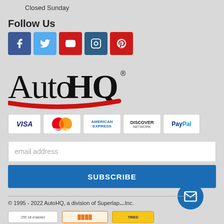Closed Sunday
Follow Us
[Figure (other): Social media icons row: Facebook (blue), Twitter (light blue), YouTube (red), Instagram (dark blue), Pinterest (red)]
[Figure (logo): AutoHQ logo with red swoosh underline]
[Figure (other): Payment method badges: VISA, MasterCard, American Express, Discover, PayPal]
email address
SUBSCRIBE
© 1995 - 2022 AutoHQ, a division of Superlap Inc.
[Figure (other): Trust/security badges row at bottom: 255 bit enabled, orange badge, tried badge]